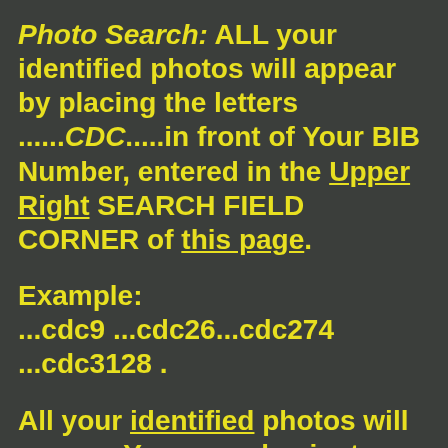Photo Search: ALL your identified photos will appear by placing the letters ......CDC.....in front of Your BIB Number, entered in the Upper Right SEARCH FIELD CORNER of this page.
Example:
...cdc9 ...cdc26...cdc274
...cdc3128 .
All your identified photos will appear. You may also just